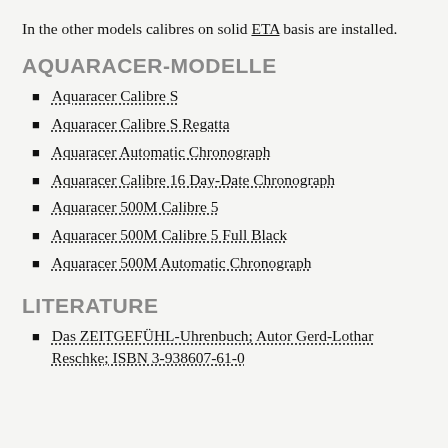In the other models calibres on solid ETA basis are installed.
AQUARACER-MODELLE
Aquaracer Calibre S
Aquaracer Calibre S Regatta
Aquaracer Automatic Chronograph
Aquaracer Calibre 16 Day-Date Chronograph
Aquaracer 500M Calibre 5
Aquaracer 500M Calibre 5 Full Black
Aquaracer 500M Automatic Chronograph
LITERATURE
Das ZEITGEFÜHL-Uhrenbuch; Autor Gerd-Lothar Reschke; ISBN 3-938607-61-0